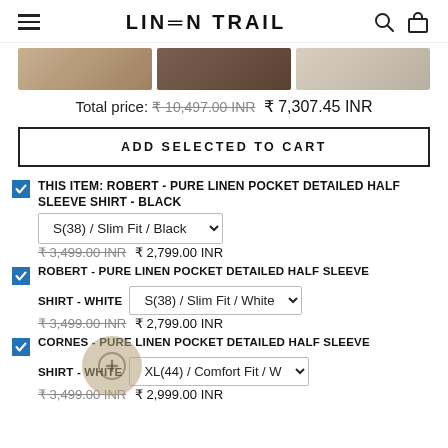LINEN TRAIL
[Figure (photo): Three product thumbnail images side by side showing shirts]
Total price: ₹10,497.00 INR  ₹7,307.45 INR
ADD SELECTED TO CART
THIS ITEM: ROBERT - PURE LINEN POCKET DETAILED HALF SLEEVE SHIRT - BLACK | S(38) / Slim Fit / Black | ₹3,499.00 INR ₹2,799.00 INR
ROBERT - PURE LINEN POCKET DETAILED HALF SLEEVE SHIRT - WHITE | S(38) / Slim Fit / White | ₹3,499.00 INR ₹2,799.00 INR
CORNES - PURE LINEN POCKET DETAILED HALF SLEEVE SHIRT - WHITE | XL(44) / Comfort Fit / W | ₹3,499.00 INR ₹2,999.00 INR